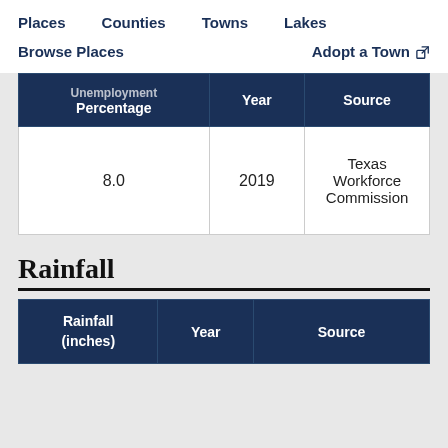Places   Counties   Towns   Lakes
Browse Places   Adopt a Town
| Unemployment Percentage | Year | Source |
| --- | --- | --- |
| 8.0 | 2019 | Texas Workforce Commission |
Rainfall
| Rainfall (inches) | Year | Source |
| --- | --- | --- |